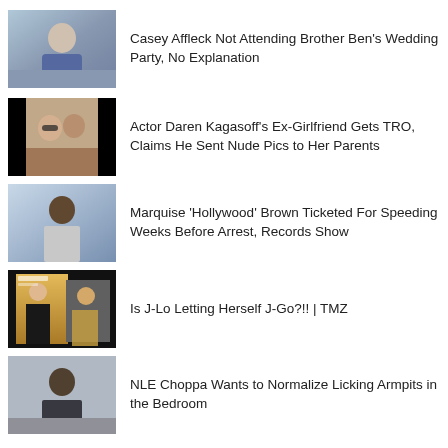Casey Affleck Not Attending Brother Ben's Wedding Party, No Explanation
Actor Daren Kagasoff's Ex-Girlfriend Gets TRO, Claims He Sent Nude Pics to Her Parents
Marquise 'Hollywood' Brown Ticketed For Speeding Weeks Before Arrest, Records Show
Is J-Lo Letting Herself J-Go?!! | TMZ
NLE Choppa Wants to Normalize Licking Armpits in the Bedroom